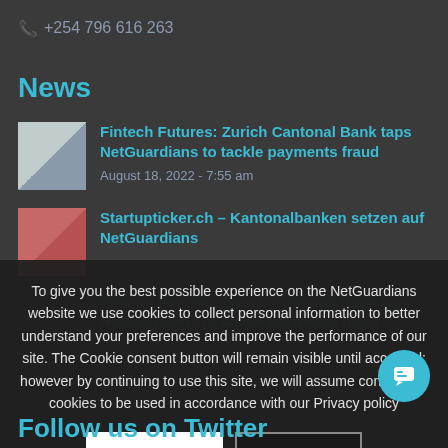+254 796 616 263
News
Fintech Futures: Zurich Cantonal Bank taps NetGuardians to tackle payments fraud
August 18, 2022 - 7:55 am
Startupticker.ch – Kantonalbanken setzen auf NetGuardians
Fintech Futures: Zurich Cantonal Bank taps NetGuardians to tackle payments fraud
To give you the best possible experience on the NetGuardians website we use cookies to collect personal information to better understand your preferences and improve the performance of our site. The Cookie consent button will remain visible until accepted; however by continuing to use this site, we will assume consent for cookies to be used in accordance with our Privacy policy
CONTINUE
Learn more
Follow us on Twitter